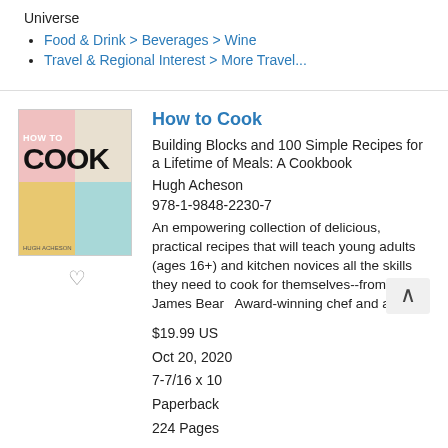Universe
Food & Drink > Beverages > Wine
Travel & Regional Interest > More Travel...
How to Cook
Building Blocks and 100 Simple Recipes for a Lifetime of Meals: A Cookbook
Hugh Acheson
978-1-9848-2230-7
An empowering collection of delicious, practical recipes that will teach young adults (ages 16+) and kitchen novices all the skills they need to cook for themselves--from a James Beard Award-winning chef and author.
$19.99 US
Oct 20, 2020
7-7/16 x 10
Paperback
224 Pages